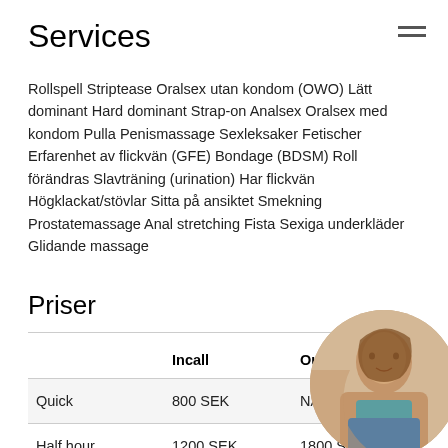Services
Rollspell Striptease Oralsex utan kondom (OWO) Lätt dominant Hard dominant Strap-on Analsex Oralsex med kondom Pulla Penismassage Sexleksaker Fetischer Erfarenhet av flickvän (GFE) Bondage (BDSM) Roll förändras Slavträning (urination) Har flickvän Högklackat/stövlar Sitta på ansiktet Smekning Prostatemassage Anal stretching Fista Sexiga underkläder Glidande massage
Priser
|  | Incall | Outcall |
| --- | --- | --- |
| Quick | 800 SEK | NA |
| Half hour | 1200 SEK | 1800 SEK |
[Figure (photo): Circular cropped photo of a woman in denim shorts and a teal top, positioned in the bottom-right corner.]